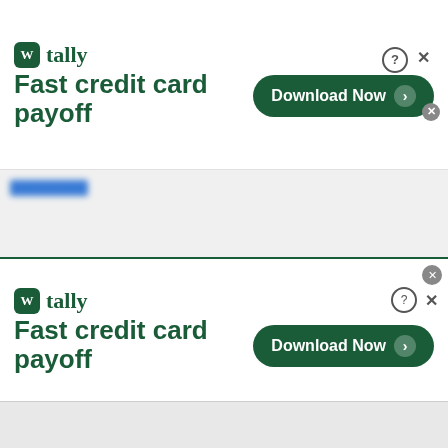[Figure (screenshot): Tally app advertisement banner at top: logo with 'W tally' text, tagline 'Fast credit card payoff', green 'Download Now' button with arrow, close and help icons]
[blurred link]
[Figure (photo): Headshot photo of a middle-aged man with light hair, smiling, wearing a light-colored shirt, against a neutral background]
[Figure (screenshot): Tally app advertisement banner at bottom: logo with 'W tally' text, tagline 'Fast credit card payoff', green 'Download Now' button with arrow, close and help icons]